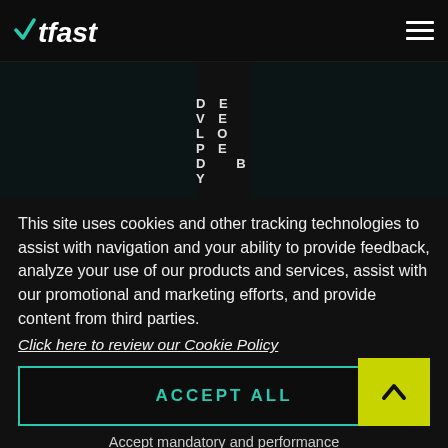WTFast logo and hamburger menu
DEVELOPED BY
Netgame
PUBLISHED BY
Netgame
This site uses cookies and other tracking technologies to assist with navigation and your ability to provide feedback, analyze your use of our products and services, assist with our promotional and marketing efforts, and provide content from third parties.
Click here to review our Cookie Policy
ACCEPT ALL
Accept mandatory and performance